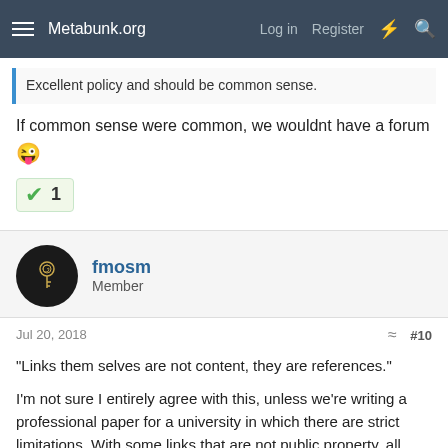Metabunk.org  Log in  Register
Excellent policy and should be common sense.
If common sense were common, we wouldnt have a forum 😛
1
fmosm
Member
Jul 20, 2018  #10
"Links them selves are not content, they are references."
I'm not sure I entirely agree with this, unless we're writing a professional paper for a university in which there are strict limitations. With some links that are not public property, all rights are reserved to the content creator, and to copy and use their content in a way that is against their wishes without permission,